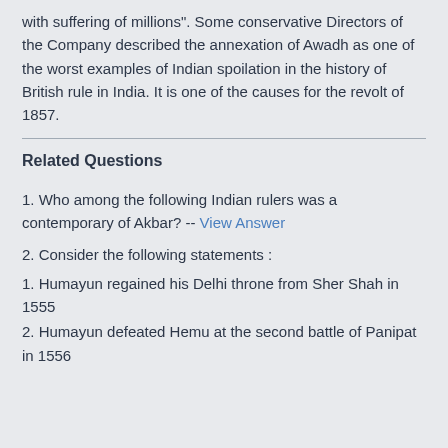with suffering of millions". Some conservative Directors of the Company described the annexation of Awadh as one of the worst examples of Indian spoilation in the history of British rule in India. It is one of the causes for the revolt of 1857.
Related Questions
1. Who among the following Indian rulers was a contemporary of Akbar? -- View Answer
2. Consider the following statements :
1. Humayun regained his Delhi throne from Sher Shah in 1555
2. Humayun defeated Hemu at the second battle of Panipat in 1556